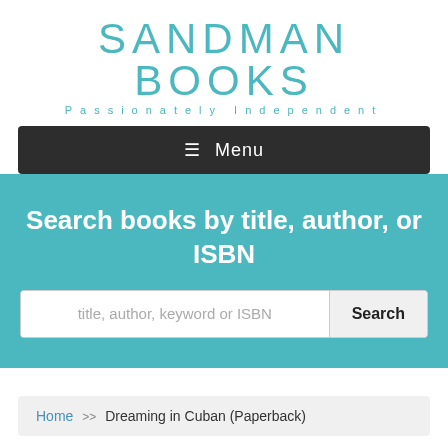[Figure (logo): Sandman Books logo with teal text and tagline 'Passionately Independent']
≡ Menu
Search books by title, author, or ISBN
title, author, keyword or ISBN
Home >> Dreaming in Cuban (Paperback)
Dreaming in Cuban